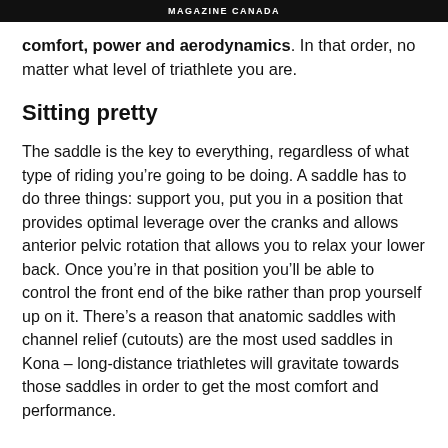MAGAZINE CANADA
comfort, power and aerodynamics. In that order, no matter what level of triathlete you are.
Sitting pretty
The saddle is the key to everything, regardless of what type of riding you’re going to be doing. A saddle has to do three things: support you, put you in a position that provides optimal leverage over the cranks and allows anterior pelvic rotation that allows you to relax your lower back. Once you’re in that position you’ll be able to control the front end of the bike rather than prop yourself up on it. There’s a reason that anatomic saddles with channel relief (cutouts) are the most used saddles in Kona – long-distance triathletes will gravitate towards those saddles in order to get the most comfort and performance.